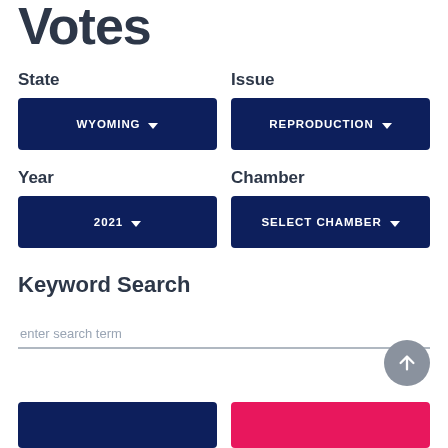Votes
State
WYOMING
Issue
REPRODUCTION
Year
2021
Chamber
SELECT CHAMBER
Keyword Search
enter search term